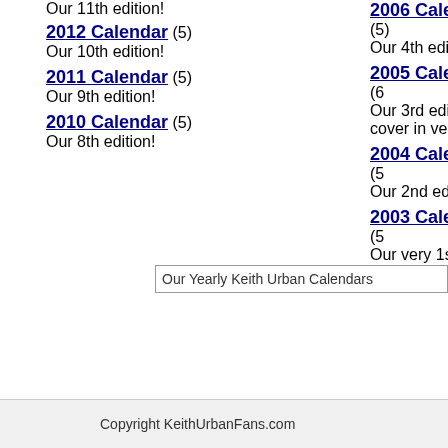Our 11th edition!
2012 Calendar (5) Our 10th edition!
2011 Calendar (5) Our 9th edition!
2010 Calendar (5) Our 8th edition!
2006 Calendar (5) Our 4th edition!
2005 Calendar (6) Our 3rd edition! A cover in very few
2004 Calendar (5) Our 2nd edition!
2003 Calendar (5) Our very 1st editio
Our Yearly Keith Urban Calendars
Copyright KeithUrbanFans.com